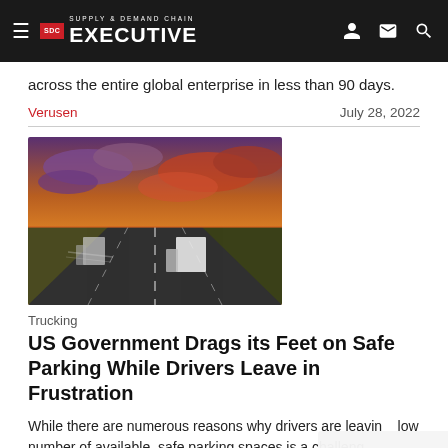Supply & Demand Chain Executive
across the entire global enterprise in less than 90 days.
Verusen	July 28, 2022
[Figure (photo): Highway scene with trucks driving on a multi-lane road under dramatic sunset sky with purple and orange clouds]
Trucking
US Government Drags its Feet on Safe Parking While Drivers Leave in Frustration
While there are numerous reasons why drivers are leaving, low number of available, safe parking spaces is a challenge for long-haul truck drivers.